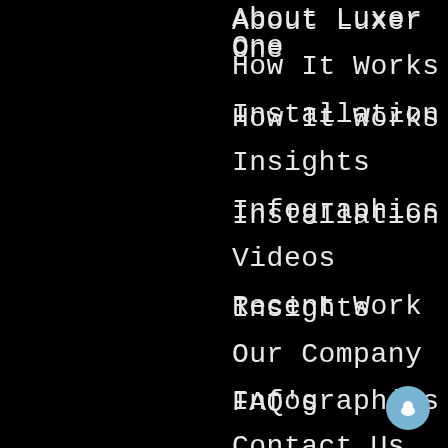About Luxer One
How It Works
Installation
Insights
Infographics
Videos
Recent Work
Our Company
FAQ's
Contact Us